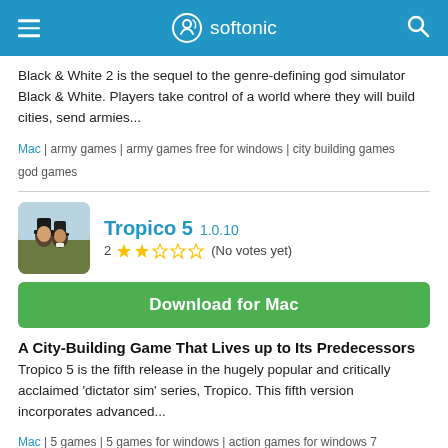[Figure (screenshot): Softonic website header with hamburger menu, Softonic logo, and search icon on blue background]
Black & White 2 is the sequel to the genre-defining god simulator Black & White. Players take control of a world where they will build cities, send armies...
Mac | army games | army games free for windows | city building games god games
Tropico 5 1.0.10 2 ★★☆☆☆ (No votes yet)
[Figure (screenshot): Tropico 5 app icon showing two characters with top hats]
Download for Mac
A City-Building Game That Lives up to Its Predecessors
Tropico 5 is the fifth release in the hugely popular and critically acclaimed 'dictator sim' series, Tropico. This fifth version incorporates advanced...
Mac | 5 games | 5 games for windows | action games for windows 7 architecture games | building game for windows 7